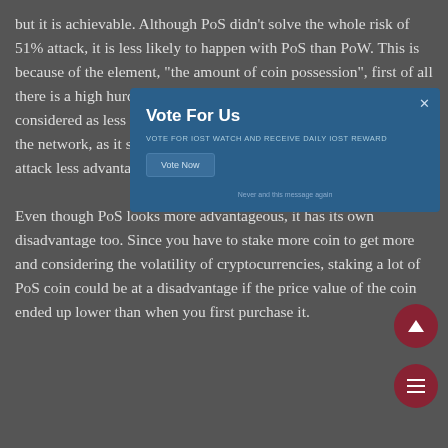but it is achievable. Although PoS didn't solve the whole risk of 51% attack, it is less likely to happen with PoS than PoW. This is because of the element, "the amount of coin possession", first of all there is a high hurdle to "hold a lot of coins". Proof of Stake is considered as less risky in terms of the potential miners to attack the network, as it structures compensation in a way that makes an attack less advantageous for the miner.
[Figure (other): Modal dialog overlay with blue background titled 'Vote For Us', subtitle 'VOTE FOR IOST WATCH AND RECEIVE DAILY IOST REWARD', a 'Vote Now' button, and footer text 'Never and this message again'. Has an X close button in the top right.]
Even though PoS looks more advantageous, it has its own disadvantage too. Since you have to stake more coin to get more and considering the volatility of cryptocurrencies, staking a lot of PoS coin could be at a disadvantage if the price value of the coin ended up lower than when you first purchase it.